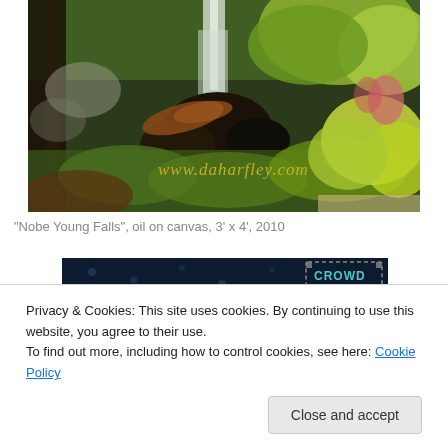[Figure (photo): Oil painting of a waterfall scene with rocks, lush green foliage and yellow-green bushes. A watermark reads www.daharfley.com in yellow text near the bottom center.]
“Nobe Young Falls”, oil on canvas, 3’ x 4’, 2010
[Figure (screenshot): Dark blue banner strip with scattered light dots and a CROWD logo with dotted border on the right side.]
Privacy & Cookies: This site uses cookies. By continuing to use this website, you agree to their use.
To find out more, including how to control cookies, see here: Cookie Policy
Close and accept